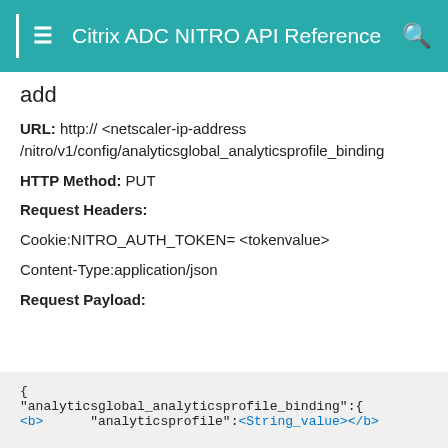Citrix ADC NITRO API Reference
add
URL: http:// <netscaler-ip-address /nitro/v1/config/analyticsglobal_analyticsprofile_binding
HTTP Method: PUT
Request Headers:
Cookie:NITRO_AUTH_TOKEN= <tokenvalue>
Content-Type:application/json
Request Payload:
{
"analyticsglobal_analyticsprofile_binding":{
<b>      "analyticsprofile":<String_value></b>